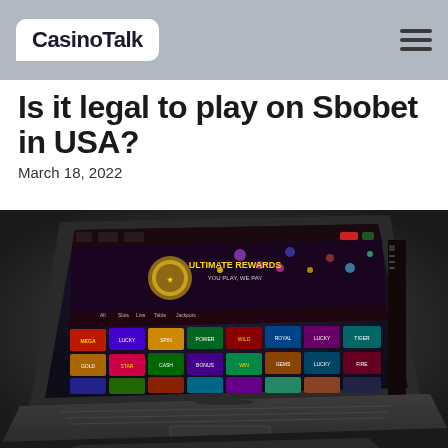CasinoTalk
Is it legal to play on Sbobet in USA?
March 18, 2022
[Figure (screenshot): A laptop computer displaying an online casino website with colorful slot game thumbnails and the text 'ULTIMATE REWARDS YOU PLAY, WE PAY' on a dark background with festive lighting effects.]